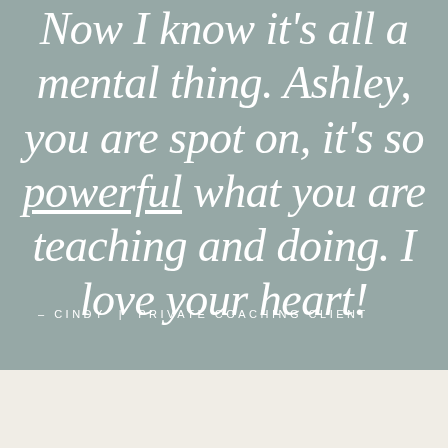Now I know it's all a mental thing. Ashley, you are spot on, it's so powerful what you are teaching and doing. I love your heart!
- CINDY | PRIVATE COACHING CLIENT